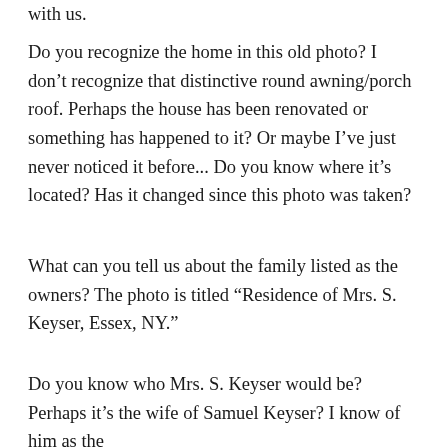with us.
Do you recognize the home in this old photo? I don't recognize that distinctive round awning/porch roof. Perhaps the house has been renovated or something has happened to it? Or maybe I've just never noticed it before... Do you know where it's located? Has it changed since this photo was taken?
What can you tell us about the family listed as the owners? The photo is titled “Residence of Mrs. S. Keyser, Essex, NY.”
Do you know who Mrs. S. Keyser would be? Perhaps it’s the wife of Samuel Keyser? I know of him as the